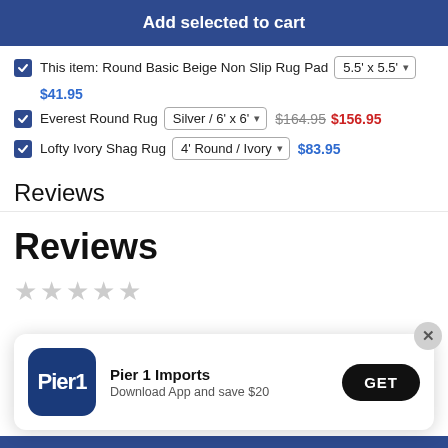Add selected to cart
This item: Round Basic Beige Non Slip Rug Pad  5.5' x 5.5'  $41.95
Everest Round Rug  Silver / 6' x 6'  $164.95  $156.95
Lofty Ivory Shag Rug  4' Round / Ivory  $83.95
Reviews
Reviews
[Figure (other): Five empty star rating icons]
[Figure (other): Pier 1 Imports app download banner with logo, text 'Pier 1 Imports / Download App and save $20', and GET button]